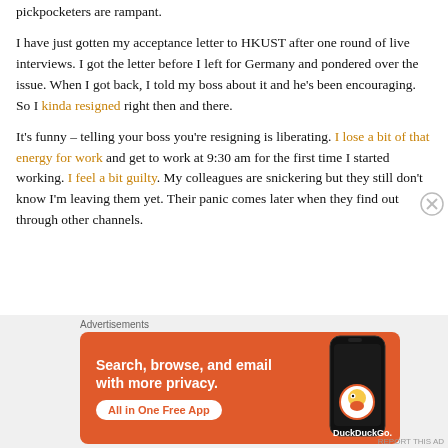pickpocketers are rampant.
I have just gotten my acceptance letter to HKUST after one round of live interviews. I got the letter before I left for Germany and pondered over the issue. When I got back, I told my boss about it and he's been encouraging. So I kinda resigned right then and there.
It's funny – telling your boss you're resigning is liberating. I lose a bit of that energy for work and get to work at 9:30 am for the first time I started working. I feel a bit guilty. My colleagues are snickering but they still don't know I'm leaving them yet. Their panic comes later when they find out through other channels.
[Figure (screenshot): DuckDuckGo advertisement banner with orange background showing 'Search, browse, and email with more privacy. All in One Free App' with a phone mockup and DuckDuckGo logo]